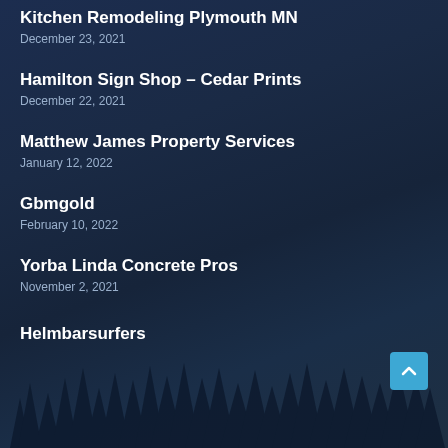Kitchen Remodeling Plymouth MN
December 23, 2021
Hamilton Sign Shop – Cedar Prints
December 22, 2021
Matthew James Property Services
January 12, 2022
Gbmgold
February 10, 2022
Yorba Linda Concrete Pros
November 2, 2021
Helmbarsurfers